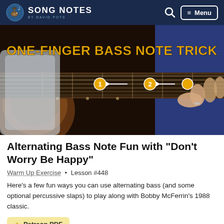SONG NOTES by DAVID POTS
[Figure (photo): Close-up of a person playing a guitar, showing the fretboard with numbered finger position markers (1 and 2) with arrows, overlaid with text 'ONE-FINGER BASS NOTE TRICK' in large yellow text]
Alternating Bass Note Fun with "Don't Worry Be Happy"
Warm Up Exercise • Lesson #448
Here's a few fun ways you can use alternating bass (and some optional percussive slaps) to play along with Bobby McFerrin's 1988 classic.
★ Patreon PDF